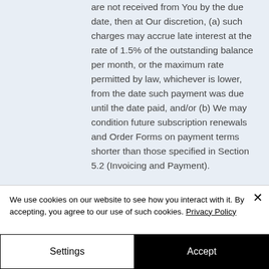are not received from You by the due date, then at Our discretion, (a) such charges may accrue late interest at the rate of 1.5% of the outstanding balance per month, or the maximum rate permitted by law, whichever is lower, from the date such payment was due until the date paid, and/or (b) We may condition future subscription renewals and Order Forms on payment terms shorter than those specified in Section 5.2 (Invoicing and Payment).
We use cookies on our website to see how you interact with it. By accepting, you agree to our use of such cookies. Privacy Policy